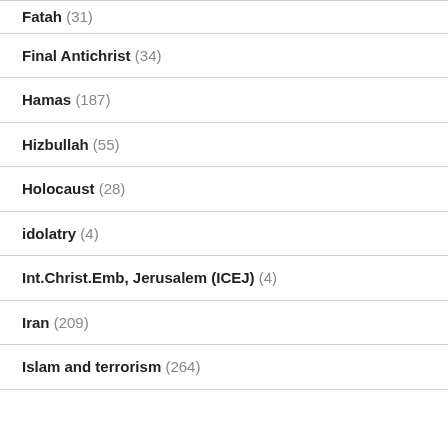Fatah (31)
Final Antichrist (34)
Hamas (187)
Hizbullah (55)
Holocaust (28)
idolatry (4)
Int.Christ.Emb, Jerusalem (ICEJ) (4)
Iran (209)
Islam and terrorism (264)